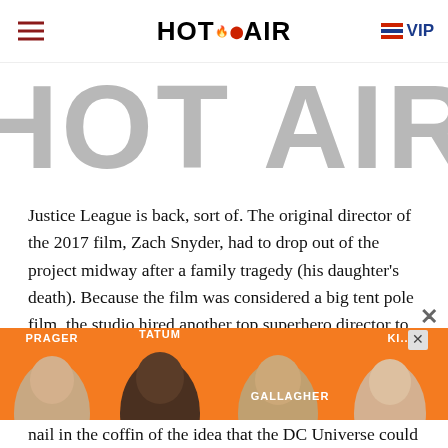HOT AIR (with VIP badge)
[Figure (logo): Large gray HOT AIR logo text watermark in background]
Justice League is back, sort of. The original director of the 2017 film, Zach Snyder, had to drop out of the project midway after a family tragedy (his daughter's death). Because the film was considered a big tent pole film, the studio hired another top superhero director to finish it. Joss Whedon, who directed the first two Avengers movies for Marvel, wound up reshooting a lot of the movie and revising the script. The result was the theatrical version of Justice League that you may have
[Figure (photo): Advertisement banner with orange background featuring people named Prager, Tatum, Gallagher, Ki on PragerU or similar]
nail in the coffin of the idea that the DC Universe could